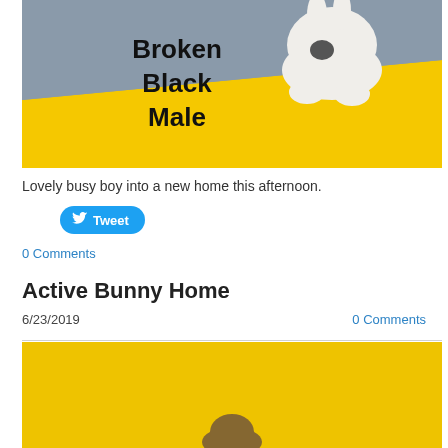[Figure (photo): Photo of a white rabbit/bunny on a gray and yellow surface with text overlay reading 'Broken Black Male' in black handwritten-style font]
Lovely busy boy into a new home this afternoon.
Tweet (button)
0 Comments
Active Bunny Home
6/23/2019
0 Comments
[Figure (photo): Partial photo showing a yellow surface with a small brown rabbit visible at the bottom edge]